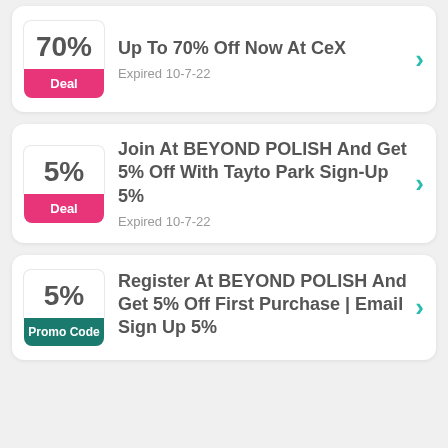70% Deal — Up To 70% Off Now At CeX — Expired 10-7-22
5% Deal — Join At BEYOND POLISH And Get 5% Off With Tayto Park Sign-Up 5% — Expired 10-7-22
5% Promo Code — Register At BEYOND POLISH And Get 5% Off First Purchase | Email Sign Up 5%